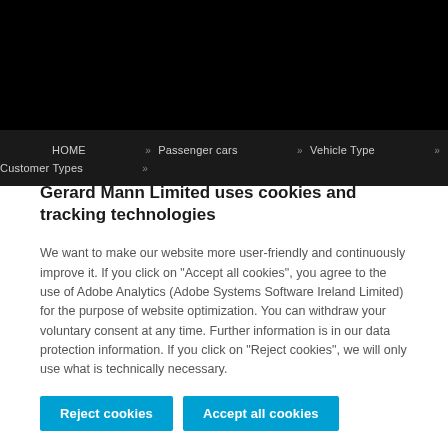[Figure (screenshot): Black header navigation bar with breadcrumb: HOME » Passenger cars » Vehicle Type » Customer Types »]
HOME » Passenger cars » Vehicle Type » Customer Types »
Gerard Mann Limited uses cookies and tracking technologies
We want to make our website more user-friendly and continuously improve it. If you click on "Accept all cookies", you agree to the use of Adobe Analytics (Adobe Systems Software Ireland Limited) for the purpose of website optimization. You can withdraw your voluntary consent at any time. Further information is in our data protection information. If you click on "Reject cookies", we will only use what is technically necessary.
Reject cookies | Accept all cookies
Further information and decision-making options are available in our data protection and cookie statements.